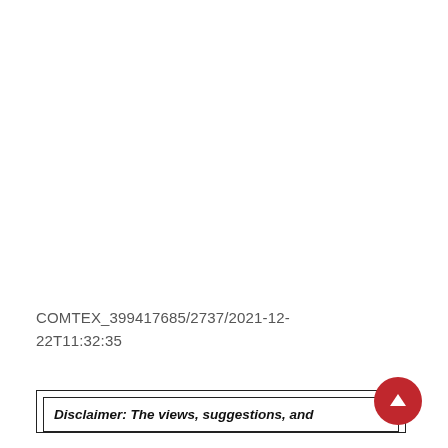COMTEX_399417685/2737/2021-12-22T11:32:35
Disclaimer: The views, suggestions, and